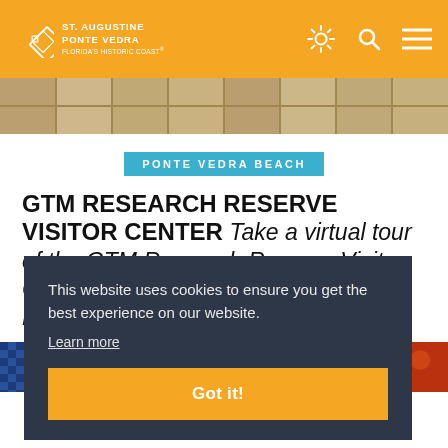ST. AUGUSTINE PONTE VEDRA FLORIDA'S HISTORIC COAST
[Figure (photo): Stone tile pathway hero image strip]
PONTE VEDRA BEACH
GTM RESEARCH RESERVE VISITOR CENTER  Take a virtual tour of the GTM Research Reserve Visitor CenterThe Guana Tolomato Matanzas Nat...
This website uses cookies to ensure you get the best experience on our website.
Learn more
Got it!